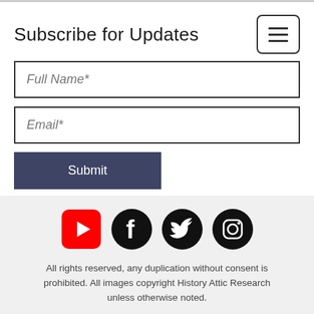Subscribe for Updates
Full Name*
Email*
Submit
[Figure (illustration): Social media icons: YouTube (red rounded square), Facebook (black circle), Twitter (black circle), Instagram (black circle)]
All rights reserved, any duplication without consent is prohibited. All images copyright History Attic Research unless otherwise noted.